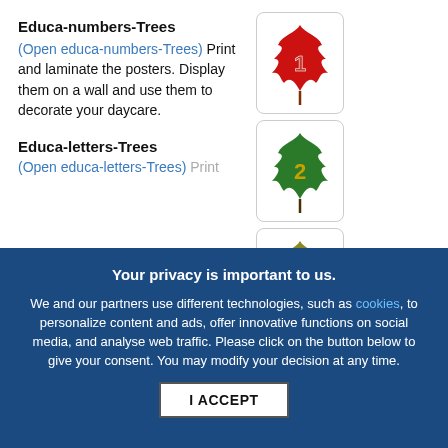Educa-numbers-Trees
(Open educa-numbers-Trees) Print and laminate the posters. Display them on a wall and use them to decorate your daycare.
[Figure (illustration): Four leaf cards in a 2x2 grid: red leaf with number 1, green leaf with number 2, olive/dark yellow leaf with number 3, yellow leaf with number 4]
Educa-letters-Trees
(Open educa-letters-Trees) Print
Your privacy is important to us.
We and our partners use different technologies, such as cookies, to personalize content and ads, offer innovative functions on social media, and analyse web traffic. Please click on the button below to give your consent. You may modify your decision at any time.
I ACCEPT